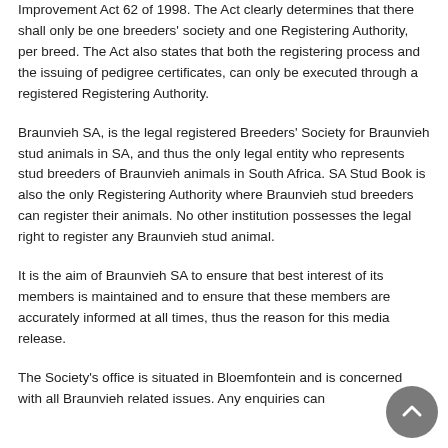Improvement Act 62 of 1998. The Act clearly determines that there shall only be one breeders' society and one Registering Authority, per breed. The Act also states that both the registering process and the issuing of pedigree certificates, can only be executed through a registered Registering Authority.
Braunvieh SA, is the legal registered Breeders' Society for Braunvieh stud animals in SA, and thus the only legal entity who represents stud breeders of Braunvieh animals in South Africa. SA Stud Book is also the only Registering Authority where Braunvieh stud breeders can register their animals. No other institution possesses the legal right to register any Braunvieh stud animal.
It is the aim of Braunvieh SA to ensure that best interest of its members is maintained and to ensure that these members are accurately informed at all times, thus the reason for this media release.
The Society's office is situated in Bloemfontein and is concerned with all Braunvieh related issues. Any enquiries can